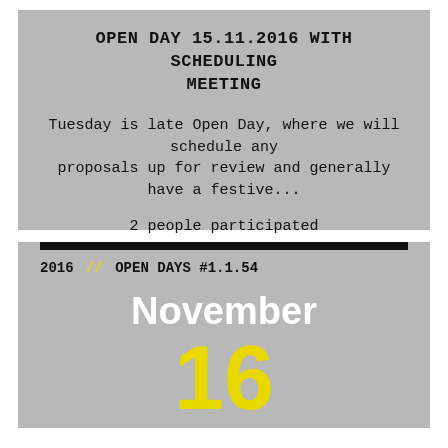OPEN DAY 15.11.2016 WITH SCHEDULING MEETING
Tuesday is late Open Day, where we will schedule any proposals up for review and generally have a festive...
2 people participated
20 ₸ earned
2016 // OPEN DAYS #1.1.54
November
16